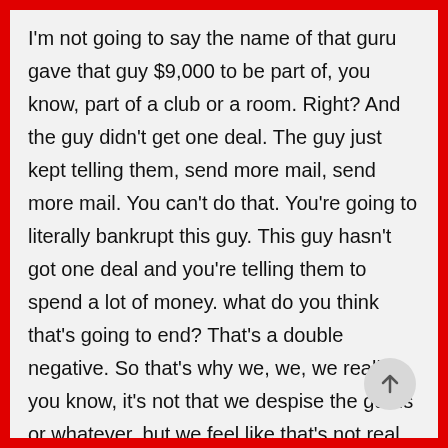I'm not going to say the name of that guru gave that guy $9,000 to be part of, you know, part of a club or a room. Right? And the guy didn't get one deal. The guy just kept telling them, send more mail, send more mail. You can't do that. You're going to literally bankrupt this guy. This guy hasn't got one deal and you're telling them to spend a lot of money. what do you think that's going to end? That's a double negative. So that's why we, we, we really, you know, it's not that we despise the gurus or whatever, but we feel like that's not real value, that's really not real value in just people keep falling for it. But the most, the thing that pisses me off the most is